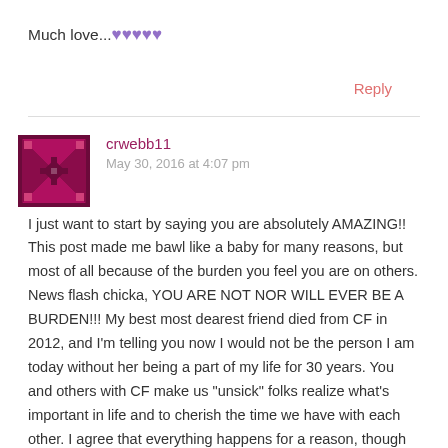Much love...💜💜💜💜💜
Reply
crwebb11
May 30, 2016 at 4:07 pm
I just want to start by saying you are absolutely AMAZING!! This post made me bawl like a baby for many reasons, but most of all because of the burden you feel you are on others. News flash chicka, YOU ARE NOT NOR WILL EVER BE A BURDEN!!! My best most dearest friend died from CF in 2012, and I'm telling you now I would not be the person I am today without her being a part of my life for 30 years. You and others with CF make us "unsick" folks realize what's important in life and to cherish the time we have with each other. I agree that everything happens for a reason, though we may not understand the reason, but